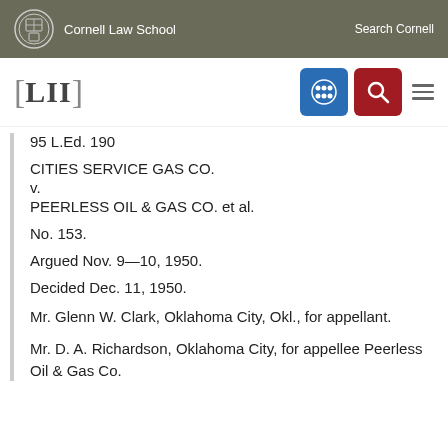Cornell Law School   Search Cornell
[Figure (logo): LII (Legal Information Institute) Cornell Law School navigation bar with blue grid icon, red search icon, and hamburger menu]
95 L.Ed. 190
CITIES SERVICE GAS CO.
v.
PEERLESS OIL & GAS CO. et al.
No. 153.
Argued Nov. 9—10, 1950.
Decided Dec. 11, 1950.
Mr. Glenn W. Clark, Oklahoma City, Okl., for appellant.
Mr. D. A. Richardson, Oklahoma City, for appellee Peerless Oil & Gas Co.